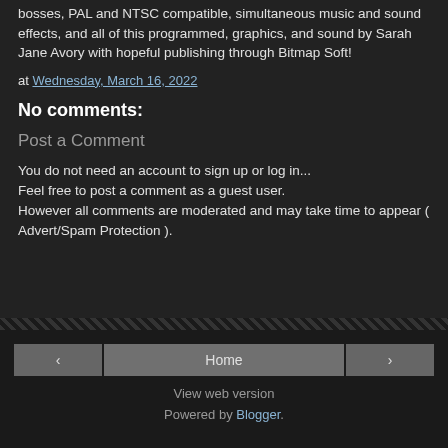bosses, PAL and NTSC compatible, simultaneous music and sound effects, and all of this programmed, graphics, and sound by Sarah Jane Avory with hopeful publishing through Bitmap Soft!
at Wednesday, March 16, 2022
No comments:
Post a Comment
You do not need an account to sign up or log in... Feel free to post a comment as a guest user. However all comments are moderated and may take time to appear ( Advert/Spam Protection ).
< Home > View web version Powered by Blogger.